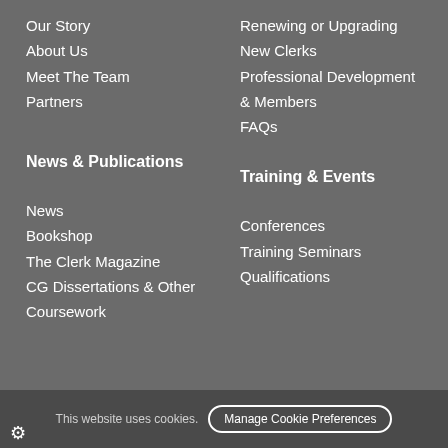Our Story
Renewing or Upgrading
About Us
New Clerks
Meet The Team
Professional Development & Members
Partners
FAQs
News & Publications
Training & Events
News
Conferences
Bookshop
Training Seminars
The Clerk Magazine
Qualifications
CG Dissertations & Other Coursework
This website uses cookies. Manage Cookie Preferences